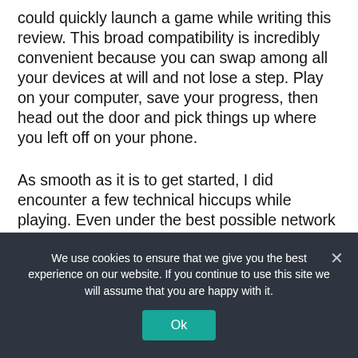could quickly launch a game while writing this review. This broad compatibility is incredibly convenient because you can swap among all your devices at will and not lose a step. Play on your computer, save your progress, then head out the door and pick things up where you left off on your phone.
As smooth as it is to get started, I did encounter a few technical hiccups while playing. Even under the best possible network conditions, playing a slow-paced game like Call of the Sea, I encountered a
We use cookies to ensure that we give you the best experience on our website. If you continue to use this site we will assume that you are happy with it.